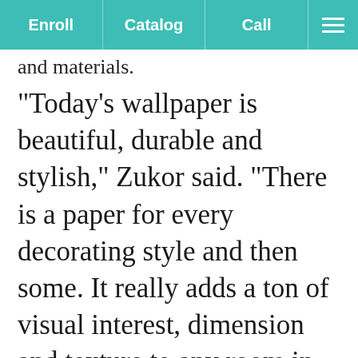Enroll | Catalog | Call | Menu
and materials.
"Today's wallpaper is beautiful, durable and stylish," Zukor said. "There is a paper for every decorating style and then some. It really adds a ton of visual interest, dimension and texture to any room in the home. It's easy to clean and actually has a longer life than paint. Grasscloths and textures are looking